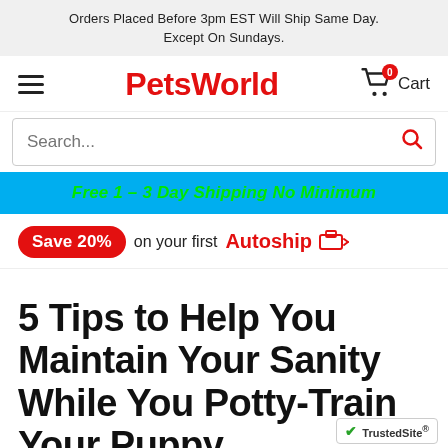Orders Placed Before 3pm EST Will Ship Same Day. Except On Sundays.
[Figure (logo): PetsWorld logo with hamburger menu and cart icon]
Search...
Free 1 – 3 Day Shipping No Minimum
Save 20% on your first Autoship
5 Tips to Help You Maintain Your Sanity While You Potty-Train Your Puppy